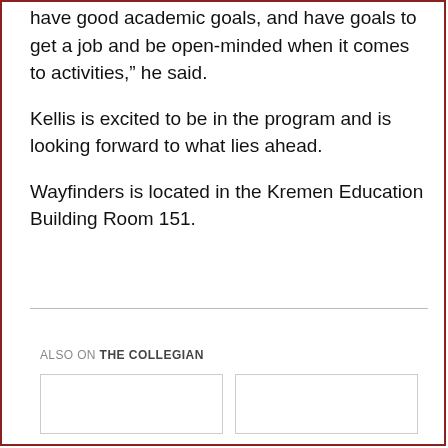have good academic goals, and have goals to get a job and be open-minded when it comes to activities," he said.
Kellis is excited to be in the program and is looking forward to what lies ahead.
Wayfinders is located in the Kremen Education Building Room 151.
ALSO ON THE COLLEGIAN